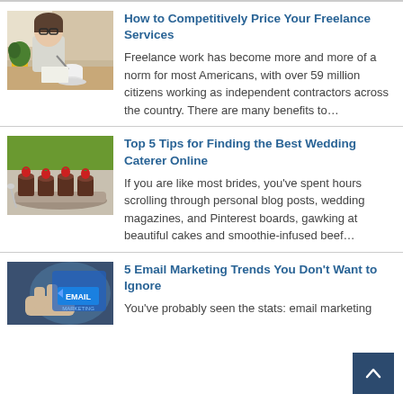[Figure (photo): Woman with glasses sitting at a table writing, coffee cup in front, plants in background]
How to Competitively Price Your Freelance Services
Freelance work has become more and more of a norm for most Americans, with over 59 million citizens working as independent contractors across the country. There are many benefits to…
[Figure (photo): Elegant dessert cups topped with strawberries arranged on a serving tray, outdoor catering setting]
Top 5 Tips for Finding the Best Wedding Caterer Online
If you are like most brides, you've spent hours scrolling through personal blog posts, wedding magazines, and Pinterest boards, gawking at beautiful cakes and smoothie-infused beef…
[Figure (photo): Hand touching a digital screen showing EMAIL MARKETING text]
5 Email Marketing Trends You Don't Want to Ignore
You've probably seen the stats: email marketing